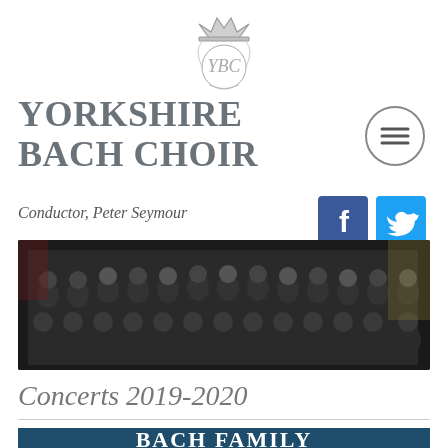[Figure (logo): Yorkshire Bach Choir ornate crown and monogram crest logo in grey]
YORKSHIRE BACH CHOIR
[Figure (other): Circular hamburger/menu button icon with three horizontal lines]
Conductor, Peter Seymour
[Figure (other): Facebook social media icon button (blue square with white f)]
[Figure (other): Twitter social media icon button (light blue square with white bird)]
[Figure (photo): Group photo of the Yorkshire Bach Choir members dressed in black formal attire on a concert stage]
Concerts 2019-2020
[Figure (other): Dark teal banner with white text reading BACH FAMILY MOTETS]